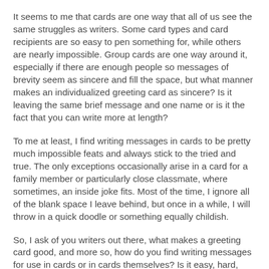It seems to me that cards are one way that all of us see the same struggles as writers. Some card types and card recipients are so easy to pen something for, while others are nearly impossible. Group cards are one way around it, especially if there are enough people so messages of brevity seem as sincere and fill the space, but what manner makes an individualized greeting card as sincere? Is it leaving the same brief message and one name or is it the fact that you can write more at length?
To me at least, I find writing messages in cards to be pretty much impossible feats and always stick to the tried and true. The only exceptions occasionally arise in a card for a family member or particularly close classmate, where sometimes, an inside joke fits. Most of the time, I ignore all of the blank space I leave behind, but once in a while, I will throw in a quick doodle or something equally childish.
So, I ask of you writers out there, what makes a greeting card good, and more so, how do you find writing messages for use in cards or in cards themselves? Is it easy, hard, something in between? I find it always seems to find